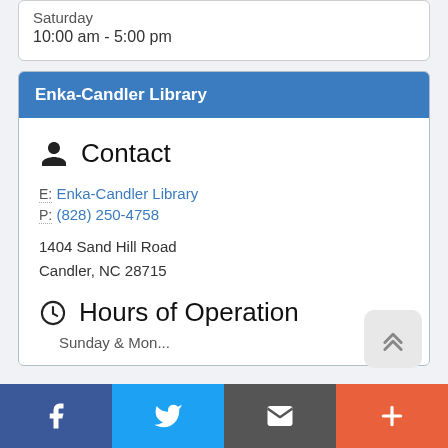Saturday
10:00 am - 5:00 pm
Enka-Candler Library
Contact
E: Enka-Candler Library
P: (828) 250-4758
1404 Sand Hill Road
Candler, NC 28715
Hours of Operation
Sunday & Mon...